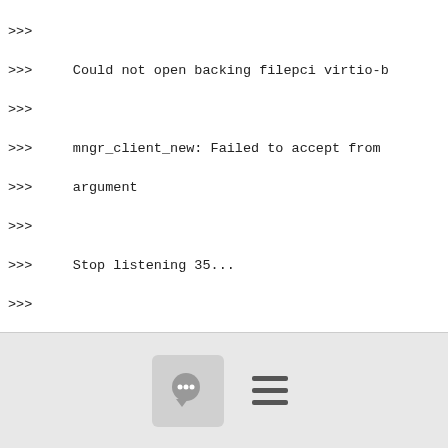>>> 
>>>     Could not open backing filepci virtio-b
>>>
>>>     mngr_client_new: Failed to accept from
>>>     argument
>>>
>>>     Stop listening 35...
>>>
>>>     my sata info:
>>>
>>>     $ lsblk
>>>
>>>     NAME         MAJ:MIN RM    SIZE RO TYPE MO
>>>
>>>     sda            8:0    0 111.8G  0 disk
>>>
>>>     ├─sda1         8:1    0   510M  0 part
>>>
>>>     ├─sda2         8:2    0    33M  0 part
>>>
[Figure (other): Footer bar with a comment/chat icon button and a hamburger menu icon]